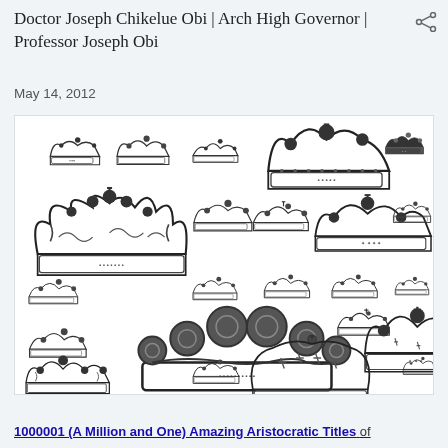Doctor Joseph Chikelue Obi | Arch High Governor | Professor Joseph Obi
May 14, 2012
[Figure (illustration): A collection of approximately 27 vintage-style engraved royal crowns of various sizes and styles, arranged in a grid-like pattern on a white background. The crowns range from small simple coronets to large ornate imperial crowns with orbs, crosses, and fleur-de-lis decorations, all rendered in black and white engraving style.]
1000001 (A Million and One) Amazing Aristocratic Titles of